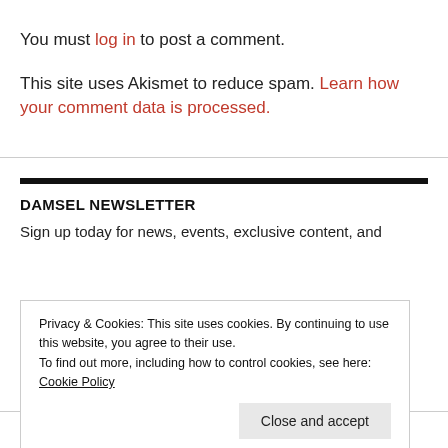You must log in to post a comment.
This site uses Akismet to reduce spam. Learn how your comment data is processed.
DAMSEL NEWSLETTER
Sign up today for news, events, exclusive content, and
Privacy & Cookies: This site uses cookies. By continuing to use this website, you agree to their use.
To find out more, including how to control cookies, see here: Cookie Policy
Enter first name